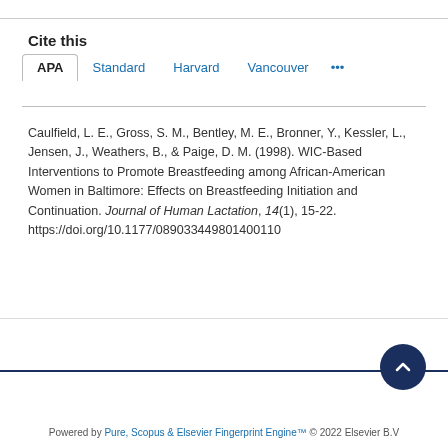Cite this
APA  Standard  Harvard  Vancouver  ...
Caulfield, L. E., Gross, S. M., Bentley, M. E., Bronner, Y., Kessler, L., Jensen, J., Weathers, B., & Paige, D. M. (1998). WIC-Based Interventions to Promote Breastfeeding among African-American Women in Baltimore: Effects on Breastfeeding Initiation and Continuation. Journal of Human Lactation, 14(1), 15-22. https://doi.org/10.1177/089033449801400110
Powered by Pure, Scopus & Elsevier Fingerprint Engine™ © 2022 Elsevier B.V